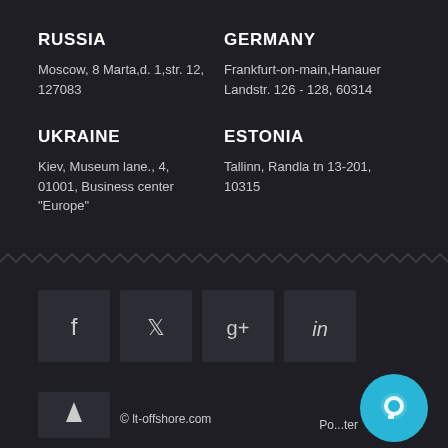RUSSIA
Moscow, 8 Marta,d. 1,str. 12, 127083
GERMANY
Frankfurt-on-main,Hanauer Landstr. 126 - 128, 60314
UKRAINE
Kiev, Museum lane., 4, 01001, Business center "Europe"
ESTONIA
Tallinn, Randla tn 13-201, 10315
[Figure (illustration): Zigzag/wave divider line]
[Figure (illustration): Social media icons: Facebook, Twitter, Google+, LinkedIn]
[Figure (logo): Small logo box]
© lt-offshore.com
[Figure (illustration): Chat bubble button (cyan circle with speech bubble icon) and 'Po...ter' text]